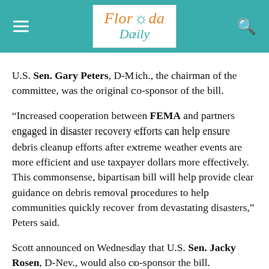Florida Daily
U.S. Sen. Gary Peters, D-Mich., the chairman of the committee, was the original co-sponsor of the bill.
“Increased cooperation between FEMA and partners engaged in disaster recovery efforts can help ensure debris cleanup efforts after extreme weather events are more efficient and use taxpayer dollars more effectively. This commonsense, bipartisan bill will help provide clear guidance on debris removal procedures to help communities quickly recover from devastating disasters,” Peters said.
Scott announced on Wednesday that U.S. Sen. Jacky Rosen, D-Nev., would also co-sponsor the bill.
“Unfortunately, Nevada is all too familiar with natural